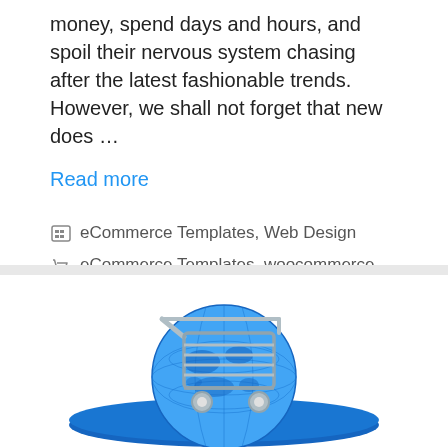money, spend days and hours, and spoil their nervous system chasing after the latest fashionable trends. However, we shall not forget that new does …
Read more
eCommerce Templates, Web Design
eCommerce Templates, woocommerce
[Figure (illustration): 3D illustration of a blue globe with a silver shopping cart on top, sitting on a blue disc/platform, on white background]